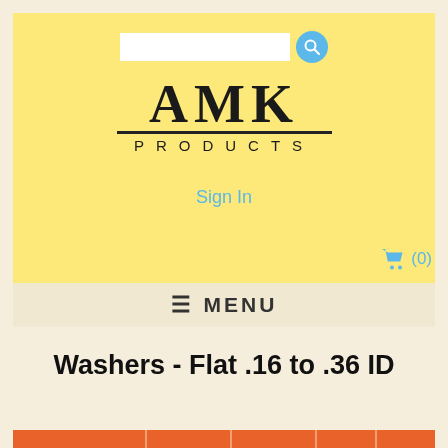[Figure (logo): AMK Products company logo with search bar and yellow background header. Includes a search input box with blue search button, AMK in large serif font, a horizontal line, PRODUCTS in spaced sans-serif, a Sign In link in blue, and a shopping cart icon with (0) count.]
Sign In
(0)
MENU
Washers - Flat .16 to .36 ID